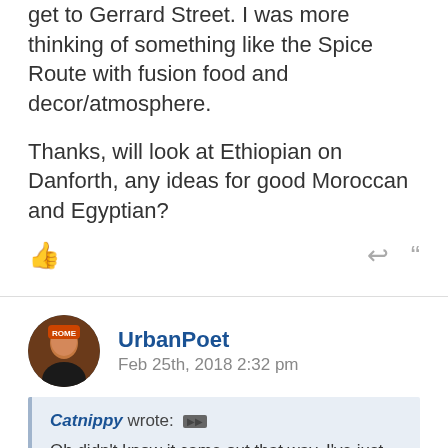get to Gerrard Street. I was more thinking of something like the Spice Route with fusion food and decor/atmosphere.
Thanks, will look at Ethiopian on Danforth, any ideas for good Moroccan and Egyptian?
UrbanPoet
Feb 25th, 2018 2:32 pm
Catnippy wrote:
Oh didn't know it came out that way. I've just had for lunch - squid tentacles salad, cold tofu in Szechuan marinade and small gizzards, fish paste stuffed in